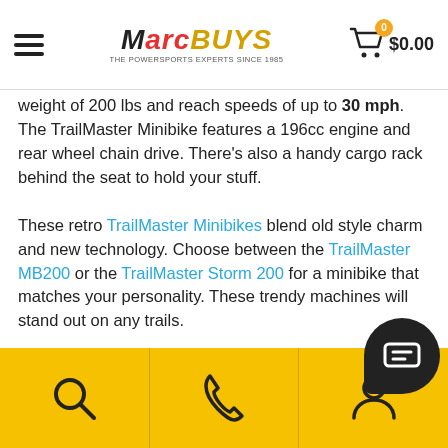MarcBUYS — THE POWERSPORTS EXPERTS SINCE 1985 | Cart: $0.00
weight of 200 lbs and reach speeds of up to 30 mph. The TrailMaster Minibike features a 196cc engine and rear wheel chain drive. There's also a handy cargo rack behind the seat to hold your stuff.
These retro TrailMaster Minibikes blend old style charm and new technology. Choose between the TrailMaster MB200 or the TrailMaster Storm 200 for a minibike that matches your personality. These trendy machines will stand out on any trails.
Do you prefer the open road to dirt trails? A street legal TrailMaster Scooter is the answer! With a well designed quiet 4 stroke engine these vehicles will get you to where you